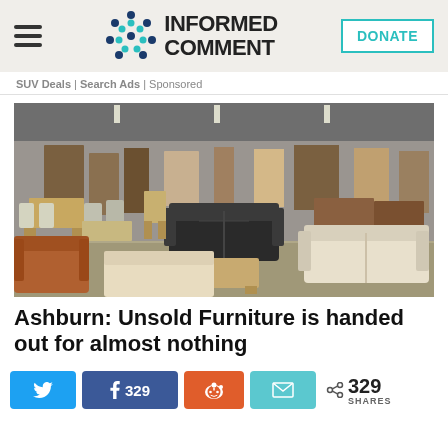INFORMED COMMENT
SUV Deals | Search Ads | Sponsored
[Figure (photo): Interior of a large furniture warehouse showroom with numerous wooden tables, chairs, dressers, cabinets, and sofas including a black leather sofa, brown leather chair, and beige sofa displayed across a large open floor.]
Ashburn: Unsold Furniture is handed out for almost nothing
329 SHARES — Twitter share button, Facebook share (329), Reddit share, Email share